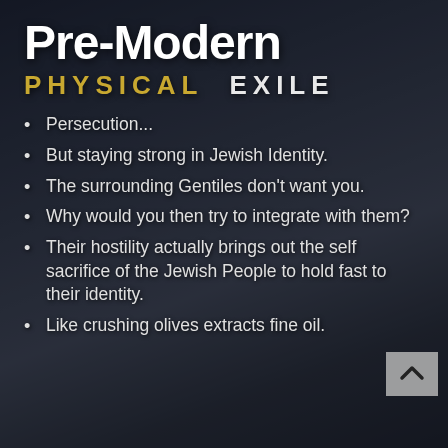Pre-Modern PHYSICAL EXILE
Persecution...
But staying strong in Jewish Identity.
The surrounding Gentiles don't want you.
Why would you then try to integrate with them?
Their hostility actually brings out the self sacrifice of the Jewish People to hold fast to their identity.
Like crushing olives extracts fine oil.